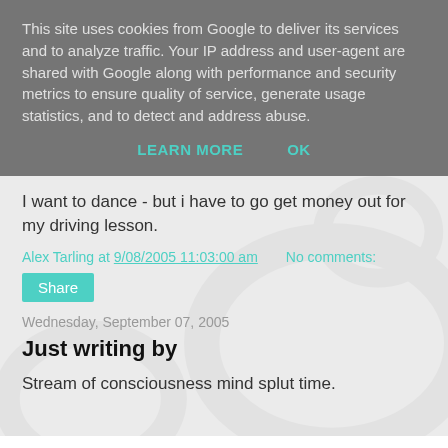This site uses cookies from Google to deliver its services and to analyze traffic. Your IP address and user-agent are shared with Google along with performance and security metrics to ensure quality of service, generate usage statistics, and to detect and address abuse.
LEARN MORE   OK
I want to dance - but i have to go get money out for my driving lesson.
Alex Tarling at 9/08/2005 11:03:00 am   No comments:
Share
Wednesday, September 07, 2005
Just writing by
Stream of consciousness mind splut time.